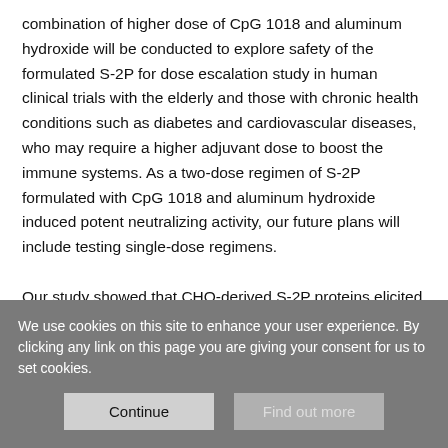combination of higher dose of CpG 1018 and aluminum hydroxide will be conducted to explore safety of the formulated S-2P for dose escalation study in human clinical trials with the elderly and those with chronic health conditions such as diabetes and cardiovascular diseases, who may require a higher adjuvant dose to boost the immune systems. As a two-dose regimen of S-2P formulated with CpG 1018 and aluminum hydroxide induced potent neutralizing activity, our future plans will include testing single-dose regimens.
Our study showed that CHO-derived S-2P proteins elicited robust immune responses in mice, indicating that CHO cell is an appropriate platform for stable S-2P production in vaccine
We use cookies on this site to enhance your user experience. By clicking any link on this page you are giving your consent for us to set cookies.